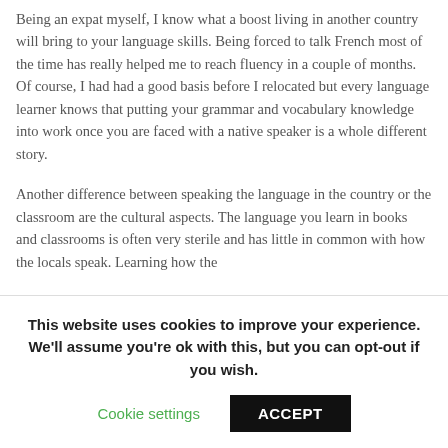Being an expat myself, I know what a boost living in another country will bring to your language skills. Being forced to talk French most of the time has really helped me to reach fluency in a couple of months. Of course, I had had a good basis before I relocated but every language learner knows that putting your grammar and vocabulary knowledge into work once you are faced with a native speaker is a whole different story.
Another difference between speaking the language in the country or the classroom are the cultural aspects. The language you learn in books and classrooms is often very sterile and has little in common with how the locals speak. Learning how the
This website uses cookies to improve your experience. We'll assume you're ok with this, but you can opt-out if you wish.
Cookie settings   ACCEPT